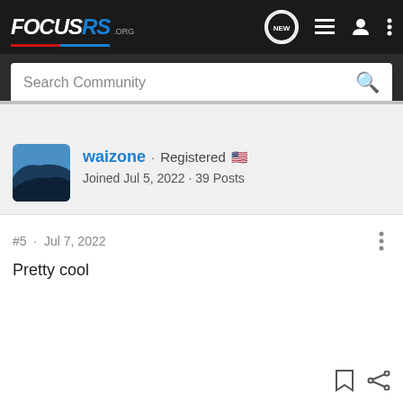FOCUSRS.ORG
Search Community
waizone · Registered 🇺🇸
Joined Jul 5, 2022 · 39 Posts
#5 · Jul 7, 2022
Pretty cool